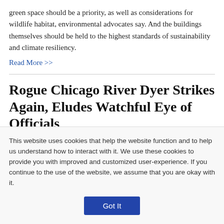green space should be a priority, as well as considerations for wildlife habitat, environmental advocates say. And the buildings themselves should be held to the highest standards of sustainability and climate resiliency.
Read More >>
Rogue Chicago River Dyer Strikes Again, Eludes Watchful Eye of Officials
Mar 15, 2022 | Patty Wetli
[Figure (photo): Partial view of a river scene with green railing/fence in foreground and water and trees visible in background]
This website uses cookies that help the website function and to help us understand how to interact with it. We use these cookies to provide you with improved and customized user-experience. If you continue to the use of the website, we assume that you are okay with it.
Got It